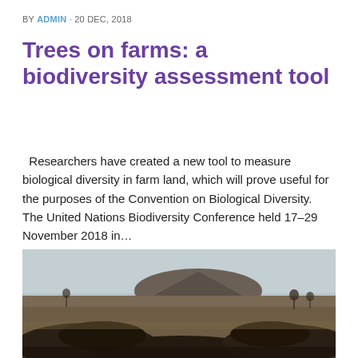BY ADMIN · 20 DEC, 2018
Trees on farms: a biodiversity assessment tool
Researchers have created a new tool to measure biological diversity in farm land, which will prove useful for the purposes of the Convention on Biological Diversity.   The United Nations Biodiversity Conference held 17–29 November 2018 in…
[Figure (photo): Landscape photograph of a dry, semi-arid farmland with dark soil mounds in the foreground, sparse dry grass, a few scattered trees in the middle ground, a hill/butte in the background, and a hazy sky.]